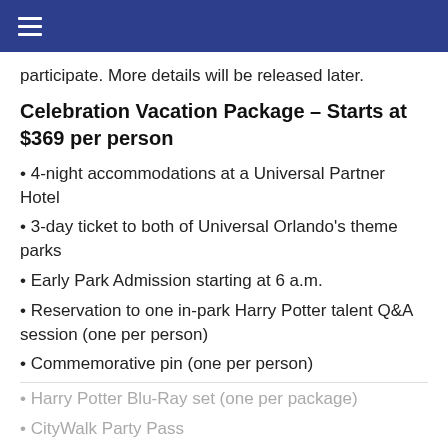≡ (navigation menu)
participate. More details will be released later.
Celebration Vacation Package – Starts at $369 per person
• 4-night accommodations at a Universal Partner Hotel
• 3-day ticket to both of Universal Orlando's theme parks
• Early Park Admission starting at 6 a.m.
• Reservation to one in-park Harry Potter talent Q&A session (one per person)
• Commemorative pin (one per person)
• Harry Potter Blu-Ray set (one per package)
• CityWalk Party Pass